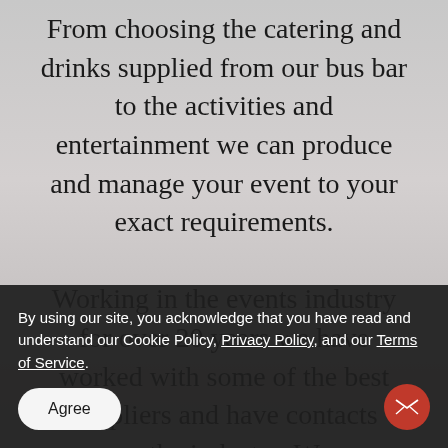From choosing the catering and drinks supplied from our bus bar to the activities and entertainment we can produce and manage your event to your exact requirements.

Working in the events industry for over 20 years we have worked with some of the best suppliers and have contacts across the industry. We can recommend
By using our site, you acknowledge that you have read and understand our Cookie Policy, Privacy Policy, and our Terms of Service.
Agree